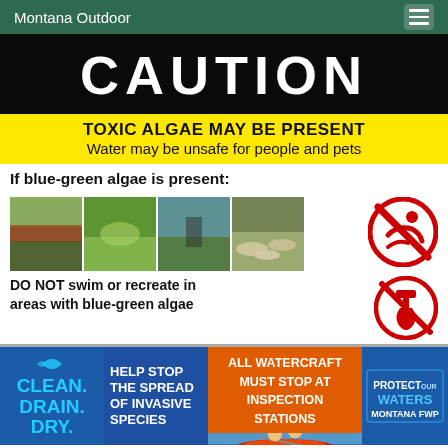Montana Outdoor
CAUTION
TOXIC ALGAE MAY BE PRESENT
Water may be unsafe for people and pets
If blue-green algae is present:
[Figure (photo): Four photos showing blue-green algae in water bodies and dead fish, plus a no-swimming prohibition sign]
DO NOT swim or recreate in areas with blue-green algae
[Figure (infographic): Bottom banner with Clean. Drain. Dry. logo, Help Stop The Spread Of Invasive Species text, All Watercraft Must Stop At Inspection Stations orange banner, kayaking photo, and Protect Our Waters Montana FWP badge]